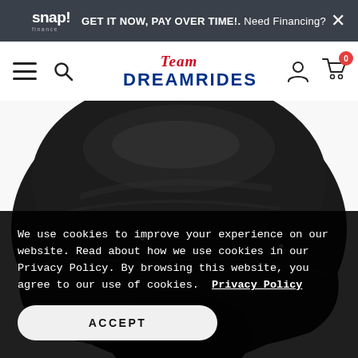snap! finance — GET IT NOW, PAY OVER TIME!. Need Financing?
[Figure (logo): Team DreamRides logo in the navigation bar]
[Figure (photo): Black motorcycle fairing/windshield product photo on white background]
We use cookies to improve your experience on our website. Read about how we use cookies in our Privacy Policy. By browsing this website, you agree to our use of cookies.  Privacy Policy
ACCEPT